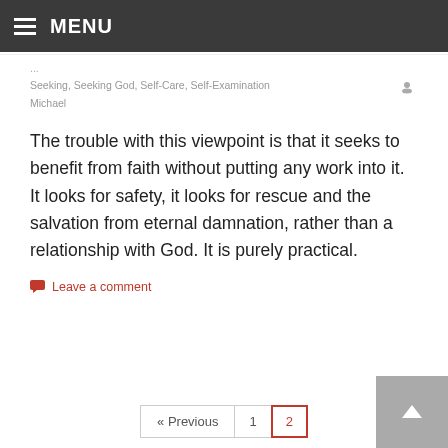MENU
Seeking, Seeking God, Self-Care, Self-Examination  Michael
The trouble with this viewpoint is that it seeks to benefit from faith without putting any work into it. It looks for safety, it looks for rescue and the salvation from eternal damnation, rather than a relationship with God. It is purely practical.
Leave a comment
« Previous  1  2